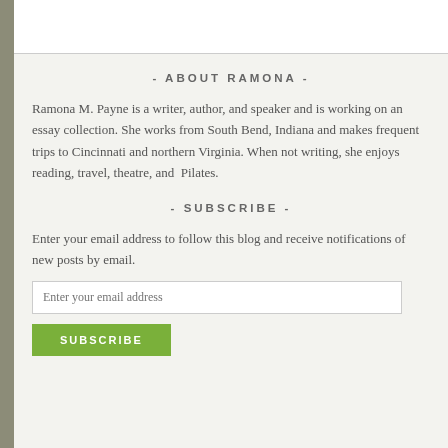- ABOUT RAMONA -
Ramona M. Payne is a writer, author, and speaker and is working on an essay collection. She works from South Bend, Indiana and makes frequent trips to Cincinnati and northern Virginia. When not writing, she enjoys reading, travel, theatre, and  Pilates.
- SUBSCRIBE -
Enter your email address to follow this blog and receive notifications of new posts by email.